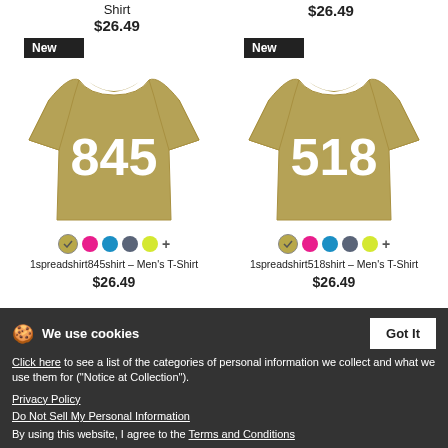Shirt $26.49
$26.49
[Figure (photo): Khaki/olive colored men's t-shirt with '845' printed in large white collegiate letters with outline, labeled 'New']
[Figure (photo): Khaki/olive colored men's t-shirt with '518' printed in large white collegiate letters with outline, labeled 'New']
1spreadshirt845shirt - Men's T-Shirt $26.49
1spreadshirt518shirt - Men's T-Shirt $26.49
We use cookies
Click here to see a list of the categories of personal information we collect and what we use them for ("Notice at Collection").
Privacy Policy
Do Not Sell My Personal Information
By using this website, I agree to the Terms and Conditions